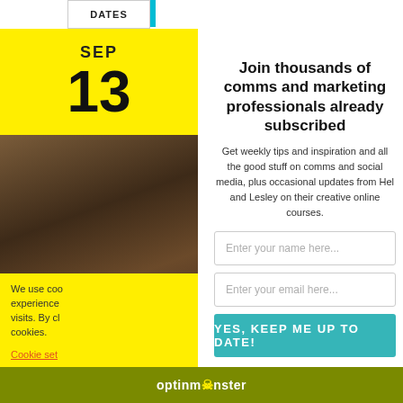DATES
SEP
13
[Figure (photo): Blurred photo of a person in front of a brick wall, visible in the left sidebar]
Join thousands of comms and marketing professionals already subscribed
Get weekly tips and inspiration and all the good stuff on comms and social media, plus occasional updates from Hel and Lesley on their creative online courses.
Enter your name here...
Enter your email here...
YES, KEEP ME UP TO DATE!
We use coo experience visits. By cl cookies.
Cookie set
optinmonster